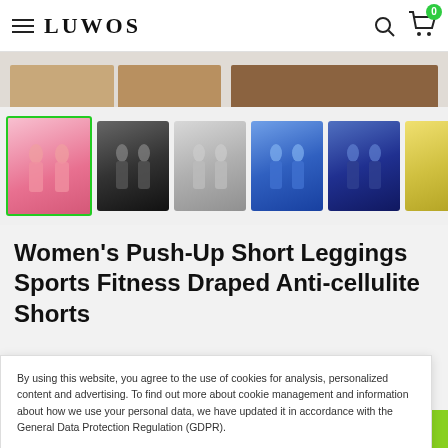LUWOS
[Figure (photo): Partial product thumbnail images strip at top showing women's shorts]
[Figure (photo): Thumbnail gallery of women's push-up shorts in various colors: pink (selected with green border), black, gray, blue, navy, yellow, and partial blue]
Women's Push-Up Short Leggings Sports Fitness Draped Anti-cellulite Shorts
By using this website, you agree to the use of cookies for analysis, personalized content and advertising. To find out more about cookie management and information about how we use your personal data, we have updated it in accordance with the General Data Protection Regulation (GDPR).
[Figure (photo): Bottom strip of partial product color variant images]